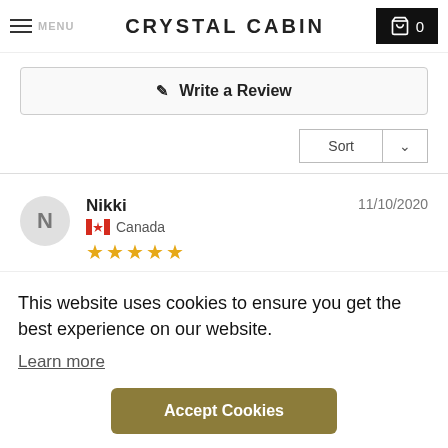CRYSTAL CABIN
Write a Review
Sort
Nikki  11/10/2020  Canada  ★★★★★
This website uses cookies to ensure you get the best experience on our website.
Learn more
Accept Cookies
like opals, you won't be disappointed working with April at Crystal Cabin. Fast